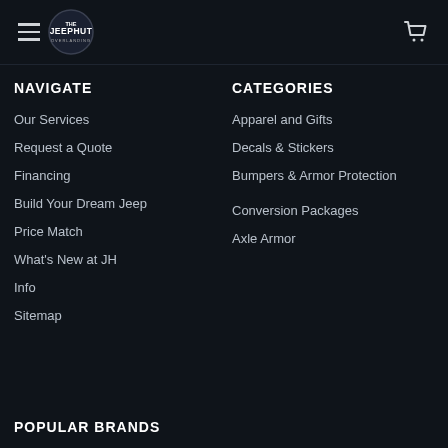The Jeep Hut - Navigation Menu
NAVIGATE
Our Services
Request a Quote
Financing
Build Your Dream Jeep
Price Match
What's New at JH
Info
Sitemap
CATEGORIES
Apparel and Gifts
Decals & Stickers
Bumpers & Armor Protection
Conversion Packages
Axle Armor
POPULAR BRANDS